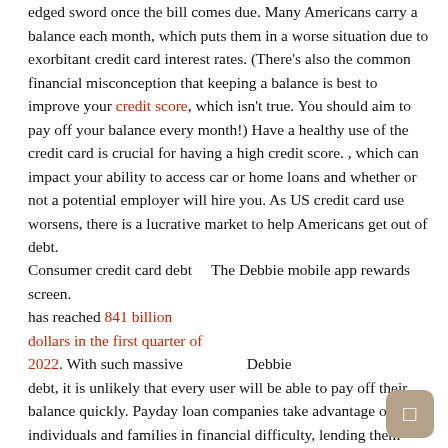edged sword once the bill comes due. Many Americans carry a balance each month, which puts them in a worse situation due to exorbitant credit card interest rates. (There's also the common financial misconception that keeping a balance is best to improve your credit score, which isn't true. You should aim to pay off your balance every month!) Have a healthy use of the credit card is crucial for having a high credit score. , which can impact your ability to access car or home loans and whether or not a potential employer will hire you. As US credit card use worsens, there is a lucrative market to help Americans get out of debt.
Consumer credit card debt    The Debbie mobile app rewards screen. has reached 841 billion dollars in the first quarter of 2022. With such massive          Debbie debt, it is unlikely that every user will be able to pay off their balance quickly. Payday loan companies take advantage of individuals and families in financial difficulty, lending them money at interest rates that would make credit card companies blush, being greater than 600% in some cases. The stigma of debt can affect someone so deeply psychologically that they begin to no longer be a functioning